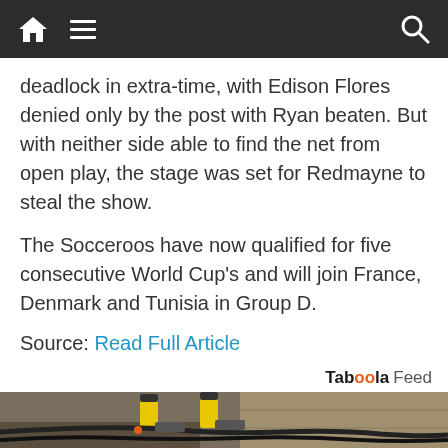[Navigation bar with home, menu, and search icons]
deadlock in extra-time, with Edison Flores denied only by the post with Ryan beaten. But with neither side able to find the net from open play, the stage was set for Redmayne to steal the show.
The Socceroos have now qualified for five consecutive World Cup's and will join France, Denmark and Tunisia in Group D.
Source: Read Full Article
[Figure (photo): Construction/engineering photo showing hydraulic equipment with yellow and black components mounted against a concrete wall, with cables and hoses in a trench]